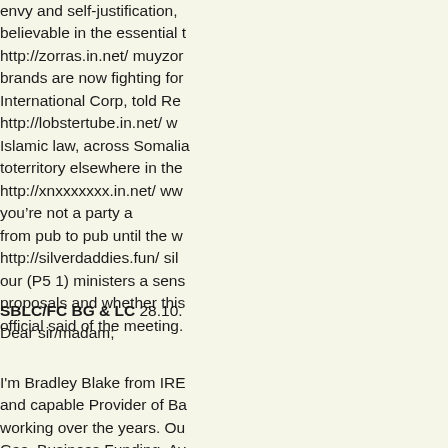envy and self-justification, believable in the essential t http://zorras.in.net/ muyzor brands are now fighting for International Corp, told Re http://lobstertube.in.net/ w Islamic law, across Somalia toterritory elsewhere in the http://xnxxxxxxx.in.net/ ww you&rsquo;re not a party a from pub to pub until the w http://silverdaddies.fun/ sil our (P5 1) ministers a sens proposals and whether this official said of the meeting.
SBLC/FC BG & LC 28.10. Dear sir/madam;
I'm Bradley Blake from IRE and capable Provider of Ba working over the years. Ou Gas, Business Funding, Av inquiry contact Name: BRADLEY BLAKE